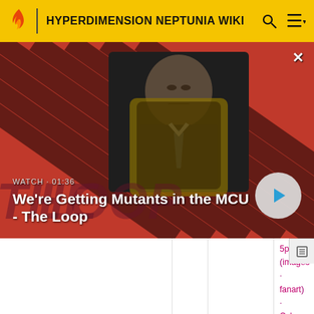HYPERDIMENSION NEPTUNIA WIKI
[Figure (screenshot): Video thumbnail showing a bald man in a suit seated in a chair, with a red and dark diagonal striped background. Text overlay: WATCH · 01:36, We're Getting Mutants in the MCU - The Loop. Play button visible on right side. Close button (x) in top right.]
5pb (images · fanart) · Cyberconnect2 (images · fanart) · Tekken (images · fanart) · MAGES. (images ·